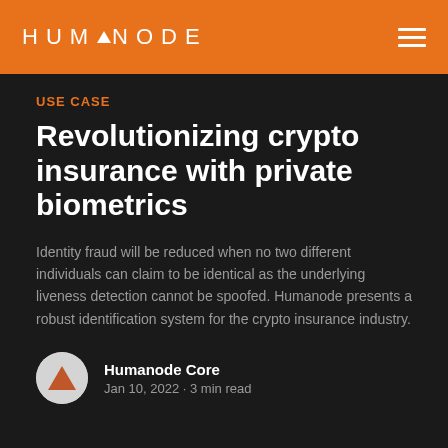HUMANODE
USE CASE
Revolutionizing crypto insurance with private biometrics
Identity fraud will be reduced when no two different individuals can claim to be identical as the underlying liveness detection cannot be spoofed. Humanode presents a robust identification system for the crypto insurance industry.
Humanode Core
Jan 10, 2022 • 3 min read